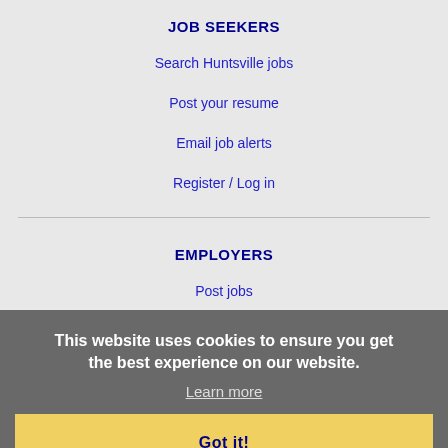JOB SEEKERS
Search Huntsville jobs
Post your resume
Email job alerts
Register / Log in
EMPLOYERS
Post jobs
Search resumes
Email resume alerts
Advertise
IMMIGRATION SPECIALISTS
Post jobs
Immigration FAQs
This website uses cookies to ensure you get the best experience on our website.
Learn more
Got it!